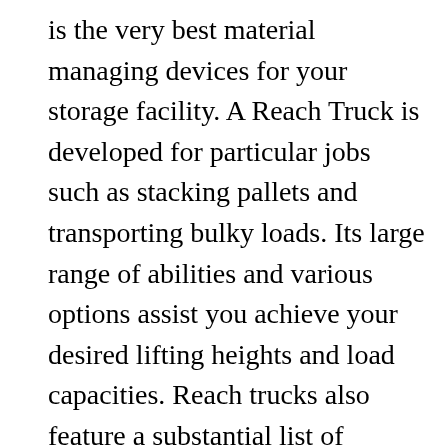is the very best material managing devices for your storage facility. A Reach Truck is developed for particular jobs such as stacking pallets and transporting bulky loads. Its large range of abilities and various options assist you achieve your desired lifting heights and load capacities. Reach trucks also feature a substantial list of optional equipment. Some of these functions consist of a draft guard door and seat heating.
The most recent innovation in reach trucks permits simple and efficient picking and